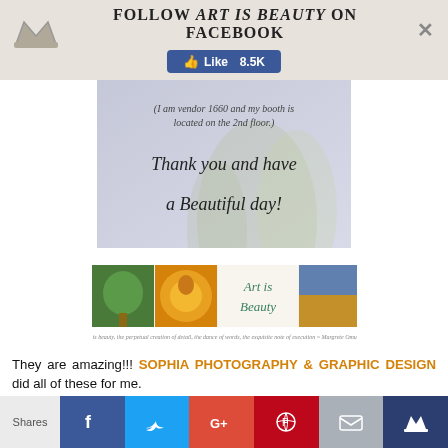Follow ART IS BEAUTY on FACEBOOK  Like 8.5K
[Figure (illustration): Thank you card with floral background reading '(I am vendor 1660 and my booth is located on the 2nd floor.) Thank you and have a Beautiful day!']
[Figure (illustration): Art is Beauty banner with four nature photos and text 'Art is Beauty']
They are amazing!!! SOPHIA PHOTOGRAPHY & GRAPHIC DESIGN did all of these for me. She made it so easy for me. I didn't cry or anything! I emailed her all the photos and she used her magic to meld them all together into something BEAUTIFUL. Here is an example of just her Photography!!
Shares | Facebook | Twitter | Google+ | Pinterest | Email | Crown